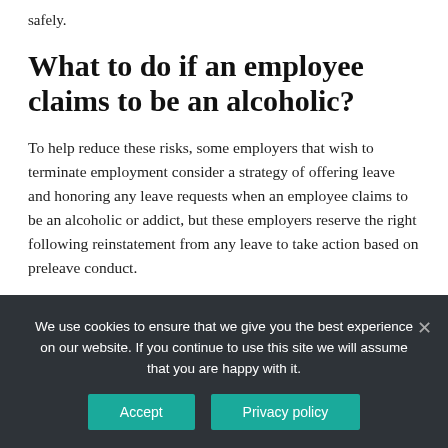safely.
What to do if an employee claims to be an alcoholic?
To help reduce these risks, some employers that wish to terminate employment consider a strategy of offering leave and honoring any leave requests when an employee claims to be an alcoholic or addict, but these employers reserve the right following reinstatement from any leave to take action based on preleave conduct.
We use cookies to ensure that we give you the best experience on our website. If you continue to use this site we will assume that you are happy with it.